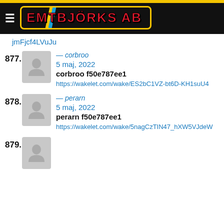EMTBJÖRKS AB
jmFjcf4LVuJu
877. — corbroo
5 maj, 2022
corbroo f50e787ee1
https://wakelet.com/wake/ES2bC1VZ-bt6D-KH1suU4
878. — perarn
5 maj, 2022
perarn f50e787ee1
https://wakelet.com/wake/5nagCzTIN47_hXW5VJdeW